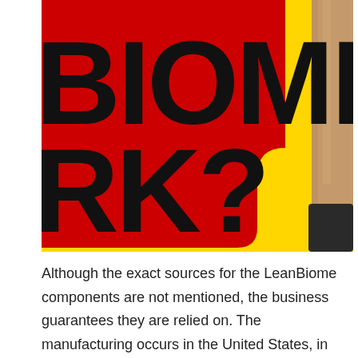[Figure (illustration): Promotional graphic with red and yellow background showing partial text 'BIOME' and 'RK?' in bold black letters on a red block, with a yellow area to the right, and a product bottle (pencil-shaped, tan/brown color with black tip) on the far right.]
Although the exact sources for the LeanBiome components are not mentioned, the business guarantees they are relied on. The manufacturing occurs in the United States, in an FDA-certified facility. The final product is tightly packed into premium plastic